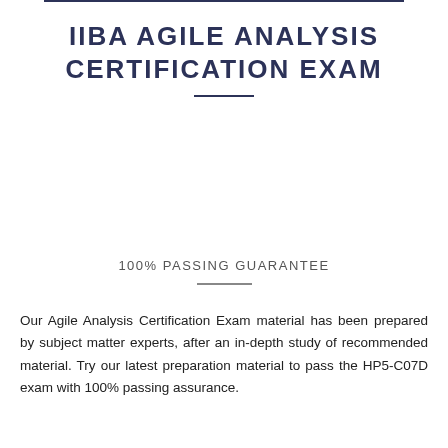IIBA AGILE ANALYSIS CERTIFICATION EXAM
100% PASSING GUARANTEE
Our Agile Analysis Certification Exam material has been prepared by subject matter experts, after an in-depth study of recommended material. Try our latest preparation material to pass the HP5-C07D exam with 100% passing assurance.